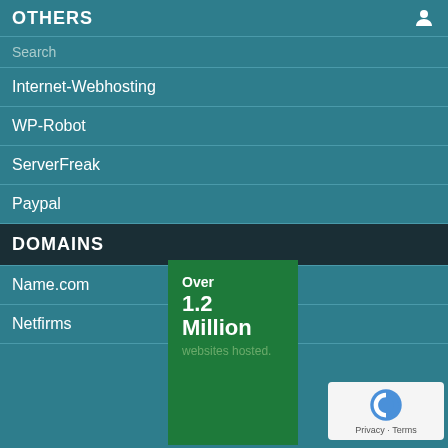OTHERS
Search
Internet-Webhosting
WP-Robot
ServerFreak
Paypal
DOMAINS
Name.com
Netfirms
[Figure (infographic): Green advertisement banner: 'Over 1.2 Million websites hosted.']
[Figure (other): reCAPTCHA widget with Privacy and Terms links]